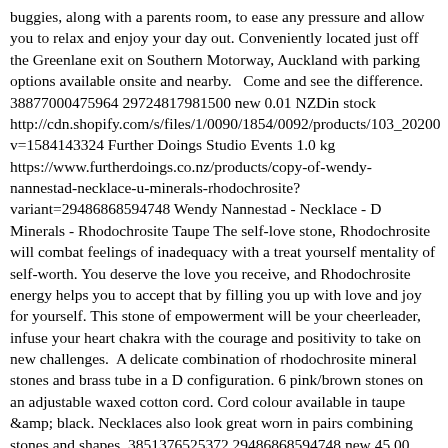buggies, along with a parents room, to ease any pressure and allow you to relax and enjoy your day out. Conveniently located just off the Greenlane exit on Southern Motorway, Auckland with parking options available onsite and nearby.   Come and see the difference. 38877000475964 29724817981500 new 0.01 NZDin stock http://cdn.shopify.com/s/files/1/0090/1854/0092/products/103_20200 v=1584143324 Further Doings Studio Events 1.0 kg https://www.furtherdoings.co.nz/products/copy-of-wendy-nannestad-necklace-u-minerals-rhodochrosite?variant=29486868594748 Wendy Nannestad - Necklace - D Minerals - Rhodochrosite Taupe The self-love stone, Rhodochrosite will combat feelings of inadequacy with a treat yourself mentality of self-worth. You deserve the love you receive, and Rhodochrosite energy helps you to accept that by filling you up with love and joy for yourself. This stone of empowerment will be your cheerleader, infuse your heart chakra with the courage and positivity to take on new challenges.  A delicate combination of rhodochrosite mineral stones and brass tube in a D configuration. 6 pink/brown stones on an adjustable waxed cotton cord. Cord colour available in taupe &amp; black. Necklaces also look great worn in pairs combining stones and shapes. 3851376525372 29486868594748 new 45.00 NZDout of stock http://cdn.shopify.com/s/files/1/0090/1854/0092/products/rhodochros v=1565311327 Go Ask Alice 0.0 kg https://www.furtherdoings.co.nz/products/copy-of-wendy-nannestad-necklace-u-minerals-rhodochrosite?